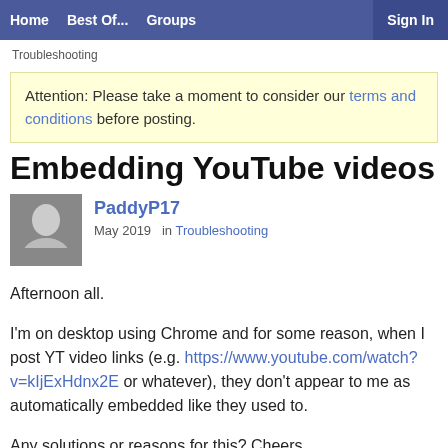Home  Best Of...  Groups  Sign In
Troubleshooting
Attention: Please take a moment to consider our terms and conditions before posting.
Embedding YouTube videos
PaddyP17
May 2019  in Troubleshooting
Afternoon all.

I'm on desktop using Chrome and for some reason, when I post YT video links (e.g. https://www.youtube.com/watch?v=kIjExHdnx2E or whatever), they don't appear to me as automatically embedded like they used to.

Any solutions or reasons for this? Cheers.